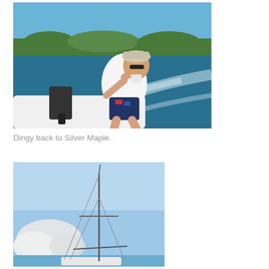[Figure (photo): Man in white shirt and cap sitting on a dinghy with an outboard motor, on open blue-green water with a tree-lined shore in the background and a wake behind the boat.]
Dingy back to Silver Maple.
[Figure (photo): Sailboat mast and rigging seen from water level against a blue sky with white clouds near the horizon, boat hull partially visible at bottom.]